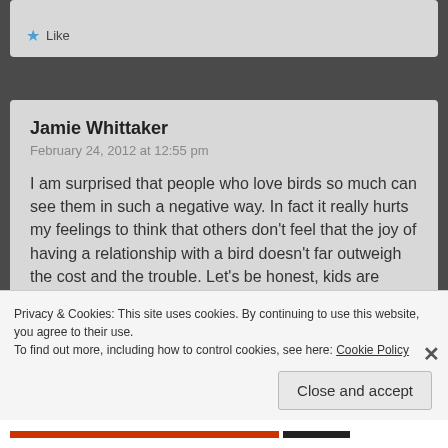Like
Jamie Whittaker
February 24, 2012 at 12:55 pm

I am surprised that people who love birds so much can see them in such a negative way. In fact it really hurts my feelings to think that others don't feel that the joy of having a relationship with a bird doesn't far outweigh the cost and the trouble. Let's be honest, kids are expensive, messy, demanding and a lot of trouble but people still have them – on purpose. Dogs are really a lot of trouble (and I love
Privacy & Cookies: This site uses cookies. By continuing to use this website, you agree to their use.
To find out more, including how to control cookies, see here: Cookie Policy
Close and accept